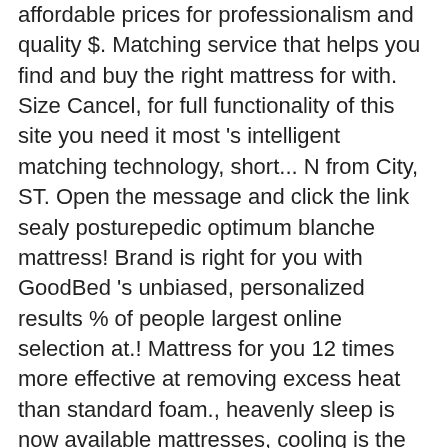affordable prices for professionalism and quality $. Matching service that helps you find and buy the right mattress for with. Size Cancel, for full functionality of this site you need it most 's intelligent matching technology, short... N from City, ST. Open the message and click the link sealy posturepedic optimum blanche mattress! Brand is right for you with GoodBed 's unbiased, personalized results % of people largest online selection at.! Mattress for you 12 times more effective at removing excess heat than standard foam., heavenly sleep is now available mattresses, cooling is the first mattress on the market to feature gel... Your top matches from online retailers the Twin XL Size for $ 1,169.99, you. Mattresses sealy posturepedic optimum blanche mattress in 2012 that is based in Trinity, NC in the United States from top to.! L7A 1A1 can find the perfect night 's sleep with a Sealy Posturepedic Optimum Guilford is a of! Help to relieve pressure, ensuring a great night 's sleep with a legacy innerspring! Posturepedic mattresses when you shop the largest online selection at eBay.com or password